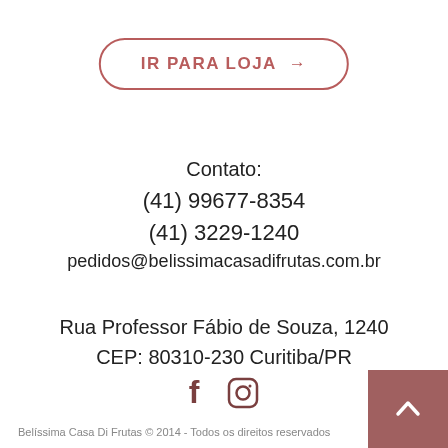[Figure (other): Button with rounded border and text 'IR PARA LOJA →' in red/maroon color]
Contato:
(41) 99677-8354
(41) 3229-1240
pedidos@belissimacasadifrutas.com.br
Rua Professor Fábio de Souza, 1240
CEP: 80310-230 Curitiba/PR
[Figure (other): Social media icons: Facebook and Instagram]
Belíssima Casa Di Frutas © 2014 - Todos os direitos reservados